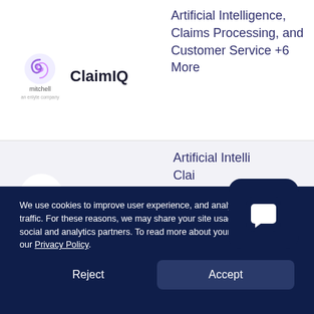[Figure (logo): Mitchell (an Enlyte company) circular logo with purple swirl icon and 'mitchell' text below]
ClaimIQ
Artificial Intelligence, Claims Processing, and Customer Service +6 More
[Figure (logo): SHIFT logo in purple bold font on white circle]
Claims Fraud Detection
Artificial Intelligence, Claims Management, and Claims
[Figure (screenshot): Dark blue rounded square chat/messaging app icon overlay]
We use cookies to improve user experience, and analyze website traffic. For these reasons, we may share your site usage data with our social and analytics partners. To read more about your options, view our Privacy Policy.
Reject
Accept